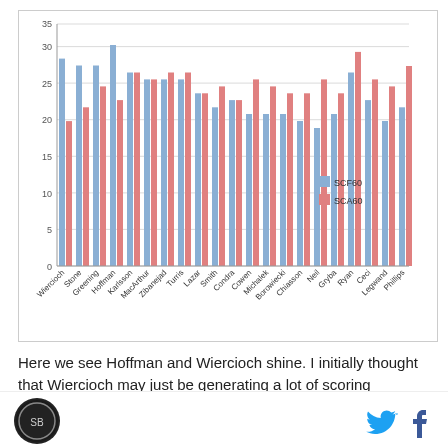[Figure (grouped-bar-chart): ]
Here we see Hoffman and Wiercioch shine. I initially thought that Wiercioch may just be generating a lot of scoring chances to make up for the ones the team